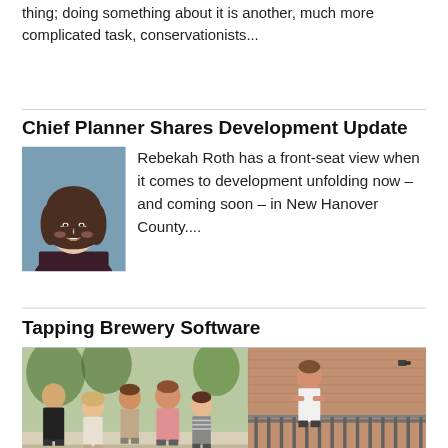thing; doing something about it is another, much more complicated task, conservationists...
Chief Planner Shares Development Update
[Figure (photo): Headshot portrait of Rebekah Roth, a woman with short brown hair wearing a dark sleeveless top, against a blue-grey background]
Rebekah Roth has a front-seat view when it comes to development unfolding now – and coming soon – in New Hanover County....
Tapping Brewery Software
[Figure (photo): Group photo of six young professionals standing together outdoors on a street, with a second image showing two people near a brick building]